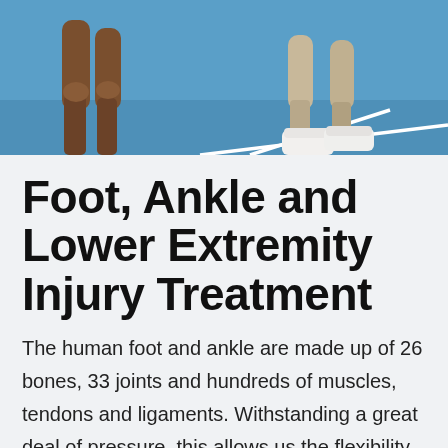[Figure (photo): Close-up photo of athletes' legs on a blue sports court (likely tennis court). Left side shows dark-skinned muscular legs, right side shows legs wearing white athletic shoes. Court lines visible in background.]
Foot, Ankle and Lower Extremity Injury Treatment
The human foot and ankle are made up of 26 bones, 33 joints and hundreds of muscles, tendons and ligaments. Withstanding a great deal of pressure, this allows us the flexibility to do things like walk and run. Foot and ankle problems